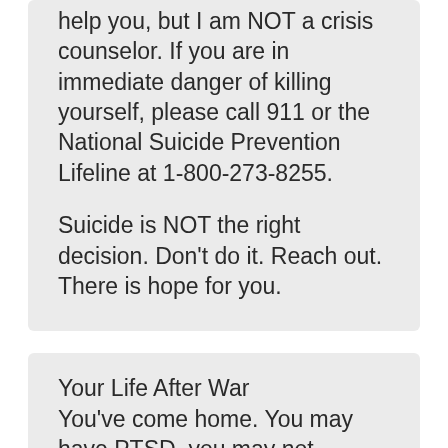help you, but I am NOT a crisis counselor. If you are in immediate danger of killing yourself, please call 911 or the National Suicide Prevention Lifeline at 1-800-273-8255.
Suicide is NOT the right decision. Don't do it. Reach out. There is hope for you.
Your Life After War
You've come home. You may have PTSD, you may not. Everyone expects you to get on with your life. Pick up the pieces. Forget about it.